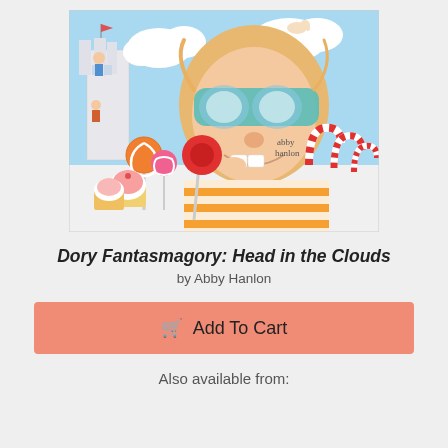[Figure (illustration): Book cover of 'Dory Fantasmagory: Head in the Clouds' by Abby Hanlon. Features a cartoon girl with teal goggles and orange striped shirt surrounded by candy, cupcakes, lollipops, candy canes, and a castle in a whimsical candy land scene on a light blue background.]
Dory Fantasmagory: Head in the Clouds
by Abby Hanlon
Add To Cart
Also available from: